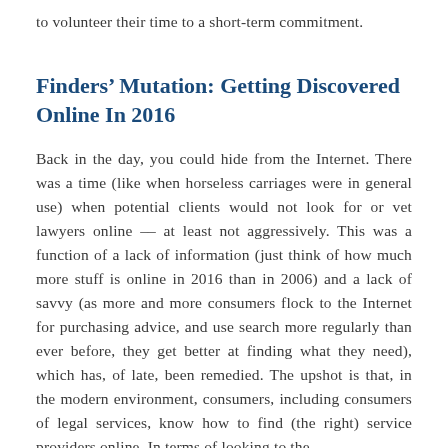to volunteer their time to a short-term commitment.
Finders’ Mutation: Getting Discovered Online In 2016
Back in the day, you could hide from the Internet. There was a time (like when horseless carriages were in general use) when potential clients would not look for or vet lawyers online –– at least not aggressively. This was a function of a lack of information (just think of how much more stuff is online in 2016 than in 2006) and a lack of savvy (as more and more consumers flock to the Internet for purchasing advice, and use search more regularly than ever before, they get better at finding what they need), which has, of late, been remedied. The upshot is that, in the modern environment, consumers, including consumers of legal services, know how to find (the right) service providers online. In terms of looking to the